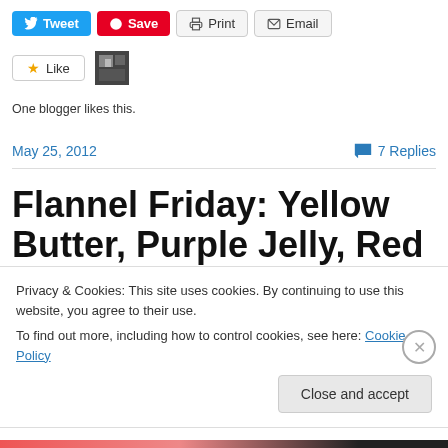[Figure (screenshot): Social sharing buttons: Tweet (blue), Save (red Pinterest), Print, Email]
[Figure (screenshot): Like button with star and blogger avatar thumbnail]
One blogger likes this.
May 25, 2012   7 Replies
Flannel Friday: Yellow Butter, Purple Jelly, Red Jam, and Brown Bread
Privacy & Cookies: This site uses cookies. By continuing to use this website, you agree to their use.
To find out more, including how to control cookies, see here: Cookie Policy
Close and accept